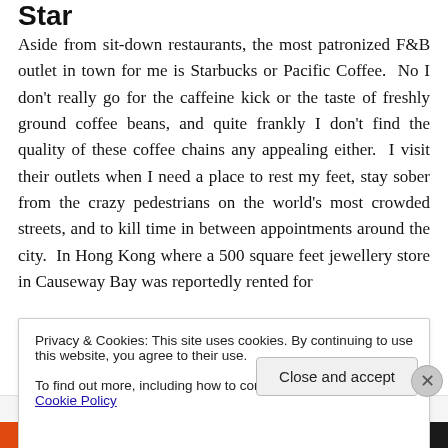Star
Aside from sit-down restaurants, the most patronized F&B outlet in town for me is Starbucks or Pacific Coffee. No I don't really go for the caffeine kick or the taste of freshly ground coffee beans, and quite frankly I don't find the quality of these coffee chains any appealing either. I visit their outlets when I need a place to rest my feet, stay sober from the crazy pedestrians on the world's most crowded streets, and to kill time in between appointments around the city. In Hong Kong where a 500 square feet jewellery store in Causeway Bay was reportedly rented for
Privacy & Cookies: This site uses cookies. By continuing to use this website, you agree to their use.
To find out more, including how to control cookies, see here: Cookie Policy
Close and accept
Advertisements